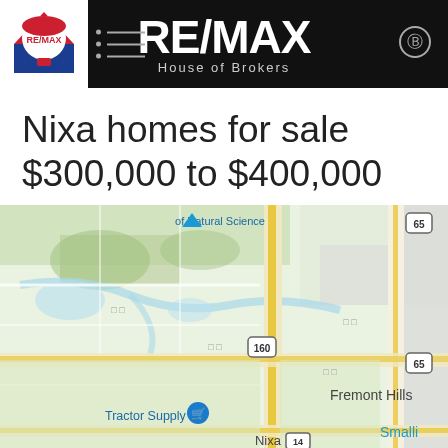RE/MAX House of Brokers
Nixa homes for sale $300,000 to $400,000
[Figure (map): Google Maps view showing Nixa, Missouri area with Highway 65, Highway 160, Highway 14, Fremont Hills, Tractor Supply Co, and Museum of Natural Science labels visible.]